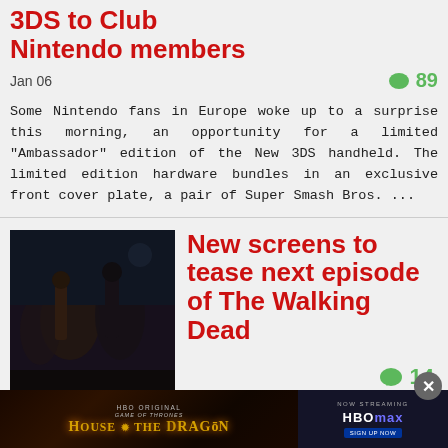3DS to Club Nintendo members
Jan 06
89
Some Nintendo fans in Europe woke up to a surprise this morning, an opportunity for a limited "Ambassador" edition of the New 3DS handheld. The limited edition hardware bundles in an exclusive front cover plate, a pair of Super Smash Bros. ...
New screens to tease next episode of The Walking Dead
14
[Figure (screenshot): Dark atmospheric game screenshot showing Walking Dead characters]
[Figure (screenshot): HBO House of the Dragon advertisement banner with HBOmax streaming logo]